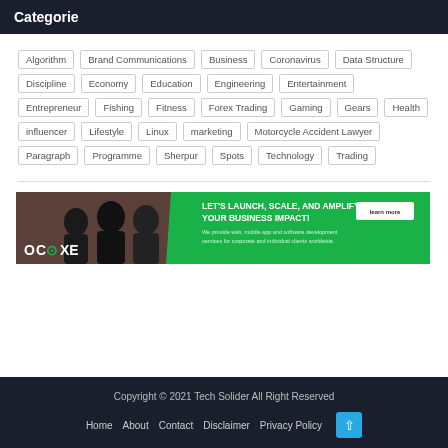Categorie
Algorithm
Brand Communications
Business
Coronavirus
Data Structure
Discipline
Economy
Education
Engineering
Entertainment
Entrepreneur
Fishing
Fitness
Forex Trading
Gaming
Gears
Health
influencer
Lifestyle
Linux
marketing
Motorcycle Accident Lawyer
Paragraph
Programme
Sherpur
Spots
Technology
Trading
[Figure (infographic): OCOXE advertisement banner: LET'S LAUNCH, SCALE, AND AMPLIFY YOUR BUSINESS IMPACT! with Learn more button and subtext about web, mobile app and software development services.]
Copyright © 2021 Tech Solider All Right Reserved
Home   About   Contact   Disclaimer   Privacy Policy